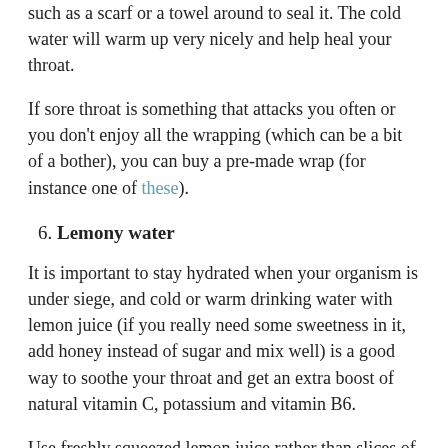such as a scarf or a towel around to seal it. The cold water will warm up very nicely and help heal your throat.
If sore throat is something that attacks you often or you don't enjoy all the wrapping (which can be a bit of a bother), you can buy a pre-made wrap (for instance one of these).
6. Lemony water
It is important to stay hydrated when your organism is under siege, and cold or warm drinking water with lemon juice (if you really need some sweetness in it, add honey instead of sugar and mix well) is a good way to soothe your throat and get an extra boost of natural vitamin C, potassium and vitamin B6.
Use freshly squeezed lemon juice rather than slices of lemon that float about – you get more out of it and unless you're using organic lemon, the skin of the citrus is